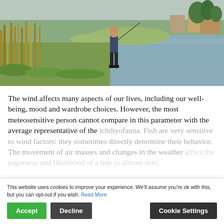[Figure (photo): A person fly fishing on a river bank with tall grasses and reeds, calm water, trees and buildings visible in the background under an overcast sky.]
The wind affects many aspects of our lives, including our well-being, mood and wardrobe choices. However, the most meteosensitive person cannot compare in this parameter with the average representative of the ichthyofauna. Fish are very sensitive to wind factors: they sometimes directly determine their behavior. The movement of air masses and changes in the weather affect the eagerness and likelihood of a bite to almost zero.
This website uses cookies to improve your experience. We'll assume you're ok with this, but you can opt-out if you wish. Read More